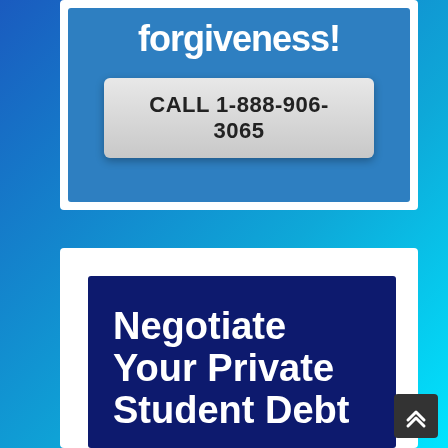forgiveness!
CALL 1-888-906-3065
Negotiate Your Private Student Debt